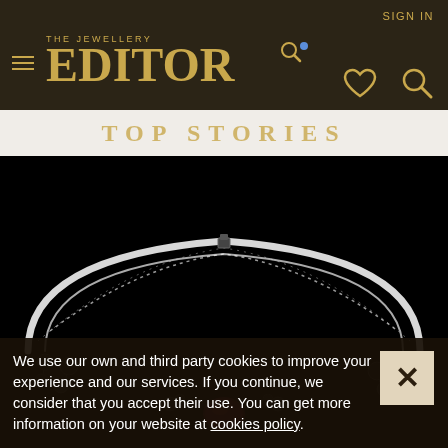THE JEWELLERY EDITOR — SIGN IN
TOP STORIES
[Figure (photo): A diamond and gemstone necklace/collar photographed against a black background, showing a delicate pavé-set band with floral motifs and a central dark gemstone.]
We use our own and third party cookies to improve your experience and our services. If you continue, we consider that you accept their use. You can get more information on your website at cookies policy.